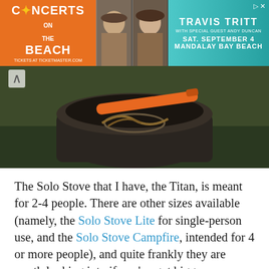[Figure (infographic): Concerts on the Beach advertisement banner featuring Travis Tritt with special guest Andy Duncan on September 4 at Mandalay Bay Beach]
[Figure (photo): Close-up photo of a Solo Stove camping stove on a log or tree stump outdoors, with an orange handle visible on top]
The Solo Stove that I have, the Titan, is meant for 2-4 people. There are other sizes available (namely, the Solo Stove Lite for single-person use, and the Solo Stove Campfire, intended for 4 or more people), and quite frankly they are worth looking into if you’ve got bigger or smaller needs than our two-person team. I do feel this is a good size for 2 people, but if I were regularly needing to heat up food for 4, I